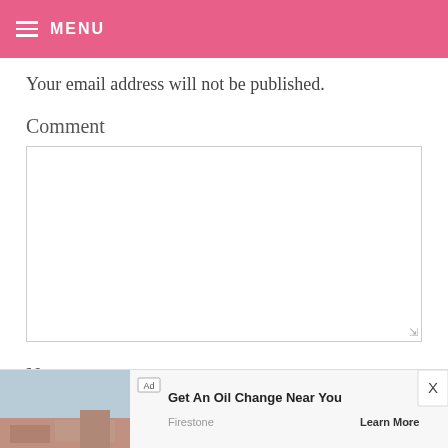MENU
Your email address will not be published.
Comment
Name
[Figure (screenshot): Advertisement banner: 'Get An Oil Change Near You' by Firestone with Learn More link]